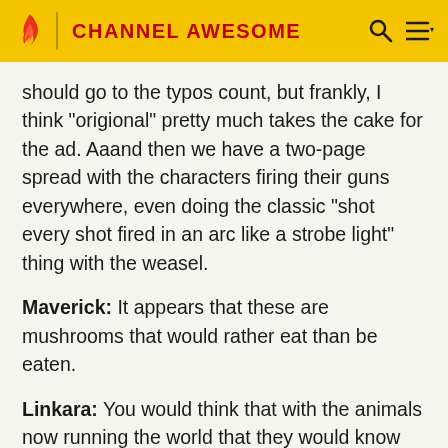CHANNEL AWESOME
should go to the typos count, but frankly, I think "origional" pretty much takes the cake for the ad. Aaand then we have a two-page spread with the characters firing their guns everywhere, even doing the classic "shot every shot fired in an arc like a strobe light" thing with the weasel.
Maverick: It appears that these are mushrooms that would rather eat than be eaten.
Linkara: You would think that with the animals now running the world that they would know the difference between "mushrooms" and "sharks".
(Cut to Linkara wearing a Pokemon outfit. He walks through the room slowly, looking around. He spots that